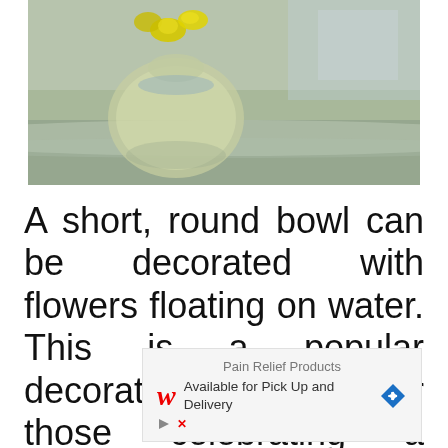[Figure (photo): A glass vase with yellow flowers floating in water on a reflective surface, with a blurred background.]
A short, round bowl can be decorated with flowers floating on water. This is a popular decorative choice for those celebrating a birthday or other celebration during the spring and summer months.
[Figure (other): Advertisement: Pain Relief Products available for Pick Up and Delivery, featuring Walgreens logo and a navigation arrow icon.]